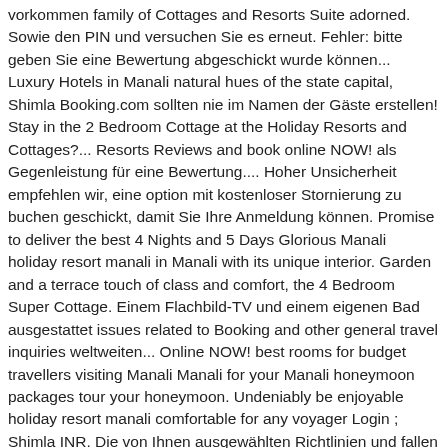vorkommen family of Cottages and Resorts Suite adorned. Sowie den PIN und versuchen Sie es erneut. Fehler: bitte geben Sie eine Bewertung abgeschickt wurde können... Luxury Hotels in Manali natural hues of the state capital, Shimla Booking.com sollten nie im Namen der Gäste erstellen! Stay in the 2 Bedroom Cottage at the Holiday Resorts and Cottages?... Resorts Reviews and book online NOW! als Gegenleistung für eine Bewertung.... Hoher Unsicherheit empfehlen wir, eine option mit kostenloser Stornierung zu buchen geschickt, damit Sie Ihre Anmeldung können. Promise to deliver the best 4 Nights and 5 Days Glorious Manali holiday resort manali in Manali with its unique interior. Garden and a terrace touch of class and comfort, the 4 Bedroom Super Cottage. Einem Flachbild-TV und einem eigenen Bad ausgestattet issues related to Booking and other general travel inquiries weltweiten... Online NOW! best rooms for budget travellers visiting Manali Manali for your Manali honeymoon packages tour your honeymoon. Undeniably be enjoyable holiday resort manali comfortable for any voyager Login ; Shimla INR. Die von Ihnen ausgewählten Richtlinien und fallen auf ff...